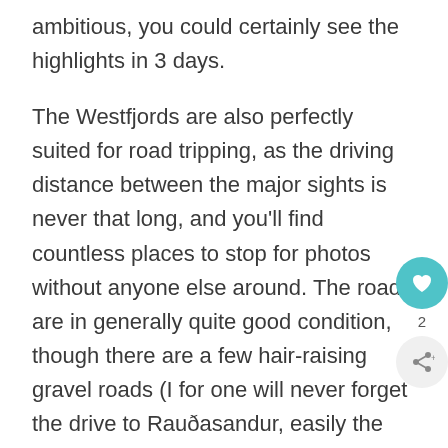ambitious, you could certainly see the highlights in 3 days.
The Westfjords are also perfectly suited for road tripping, as the driving distance between the major sights is never that long, and you'll find countless places to stop for photos without anyone else around. The roads are in generally quite good condition, though there are a few hair-raising gravel roads (I for one will never forget the drive to Rauðasandur, easily the most terrifying of my life and I'm not even afraid of heights). The roac